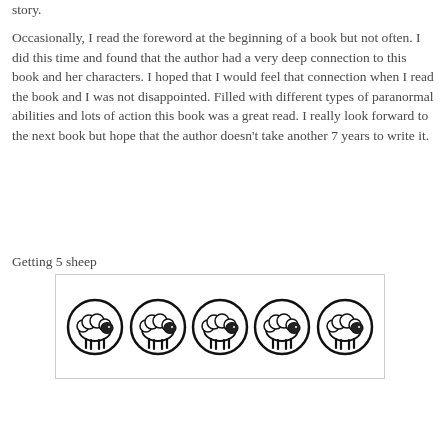story.
Occasionally, I read the foreword at the beginning of a book but not often. I did this time and found that the author had a very deep connection to this book and her characters. I hoped that I would feel that connection when I read the book and I was not disappointed. Filled with different types of paranormal abilities and lots of action this book was a great read. I really look forward to the next book but hope that the author doesn't take another 7 years to write it.
Getting 5 sheep
[Figure (illustration): Five sheep icons in circles arranged horizontally in a bordered box, representing a 5-sheep rating.]